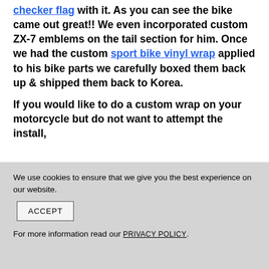checker flag with it. As you can see the bike came out great!! We even incorporated custom ZX-7 emblems on the tail section for him. Once we had the custom sport bike vinyl wrap applied to his bike parts we carefully boxed them back up & shipped them back to Korea.

If you would like to do a custom wrap on your motorcycle but do not want to attempt the install,
We use cookies to ensure that we give you the best experience on our website. [ACCEPT] For more information read our PRIVACY POLICY.